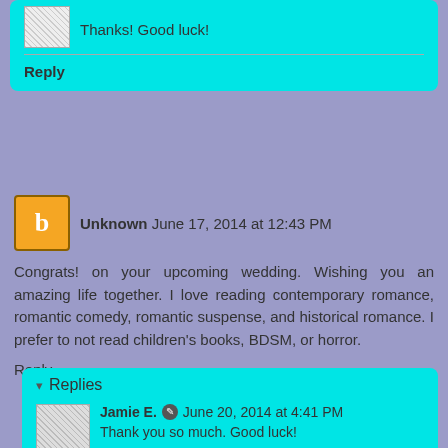Thanks! Good luck!
Reply
Unknown June 17, 2014 at 12:43 PM
Congrats! on your upcoming wedding. Wishing you an amazing life together. I love reading contemporary romance, romantic comedy, romantic suspense, and historical romance. I prefer to not read children's books, BDSM, or horror.
Reply
Replies
Jamie E. June 20, 2014 at 4:41 PM
Thank you so much. Good luck!
Reply